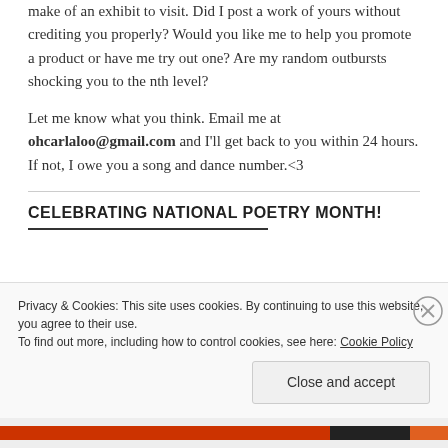make of an exhibit to visit. Did I post a work of yours without crediting you properly? Would you like me to help you promote a product or have me try out one? Are my random outbursts shocking you to the nth level?
Let me know what you think. Email me at ohcarlaloo@gmail.com and I'll get back to you within 24 hours. If not, I owe you a song and dance number.<3
CELEBRATING NATIONAL POETRY MONTH!
Privacy & Cookies: This site uses cookies. By continuing to use this website, you agree to their use.
To find out more, including how to control cookies, see here: Cookie Policy